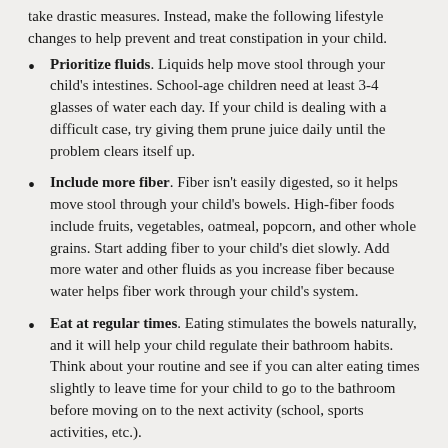take drastic measures. Instead, make the following lifestyle changes to help prevent and treat constipation in your child.
Prioritize fluids. Liquids help move stool through your child's intestines. School-age children need at least 3-4 glasses of water each day. If your child is dealing with a difficult case, try giving them prune juice daily until the problem clears itself up.
Include more fiber. Fiber isn't easily digested, so it helps move stool through your child's bowels. High-fiber foods include fruits, vegetables, oatmeal, popcorn, and other whole grains. Start adding fiber to your child's diet slowly. Add more water and other fluids as you increase fiber because water helps fiber work through your child's system.
Eat at regular times. Eating stimulates the bowels naturally, and it will help your child regulate their bathroom habits. Think about your routine and see if you can alter eating times slightly to leave time for your child to go to the bathroom before moving on to the next activity (school, sports activities, etc.).